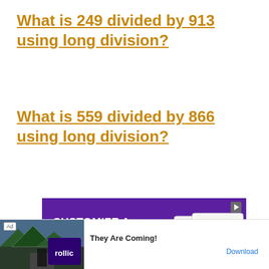What is 249 divided by 913 using long division?
What is 559 divided by 866 using long division?
[Figure (photo): Advertisement banner for Visa Gift Card customization with photo. Purple background with white bold text reading 'CUSTOMIZE A VISA GIFT CARD WITH A PHOTO'. Shows greeting cards on right side. Text 'Attach it to a greeting card for even more personalization!' at bottom left. Purple 'SHOP NOW' button at bottom right.]
[Figure (photo): Bottom ad bar for 'rollic' app showing 'They Are Coming!' with a Download link. Ad label visible on left.]